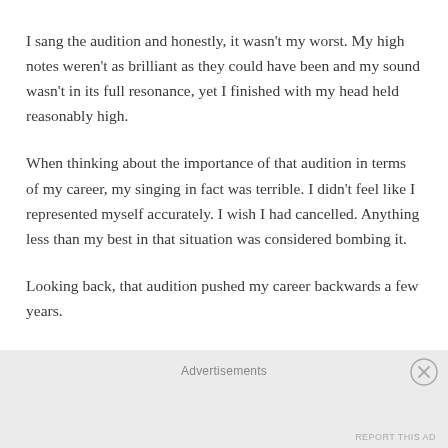I sang the audition and honestly, it wasn't my worst. My high notes weren't as brilliant as they could have been and my sound wasn't in its full resonance, yet I finished with my head held reasonably high.
When thinking about the importance of that audition in terms of my career, my singing in fact was terrible. I didn't feel like I represented myself accurately. I wish I had cancelled. Anything less than my best in that situation was considered bombing it.
Looking back, that audition pushed my career backwards a few years.
Advertisements